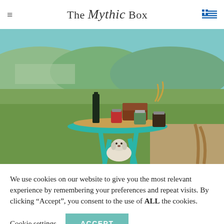The Mythic Box
[Figure (photo): Outdoor scene with a teal folding table holding Greek food products (olive oil bottle, wooden chest, jars of herbs and spreads) on a wicker tray. Green meadows and hills in the background. A white dog sits beneath the table. Rustic rope visible on the right.]
We use cookies on our website to give you the most relevant experience by remembering your preferences and repeat visits. By clicking “Accept”, you consent to the use of ALL the cookies.
Cookie settings   ACCEPT